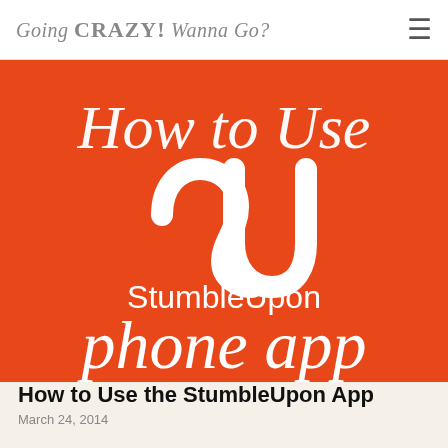Going CRAZY! Wanna Go?
[Figure (illustration): Orange background promotional image for StumbleUpon phone app tutorial. Text reads 'How to Use' in large white italic script at top, followed by the StumbleUpon logo (stylized 'Su' icon), then 'StumbleUpon' in white sans-serif, then 'phone app' in large white italic script at bottom.]
How to Use the StumbleUpon App
March 24, 2014